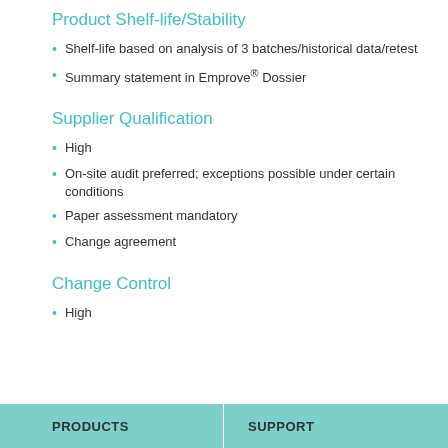Product Shelf-life/Stability
Shelf-life based on analysis of 3 batches/historical data/retest
Summary statement in Emprove® Dossier
Supplier Qualification
High
On-site audit preferred; exceptions possible under certain conditions
Paper assessment mandatory
Change agreement
Change Control
High
PRODUCTS    SUPPORT